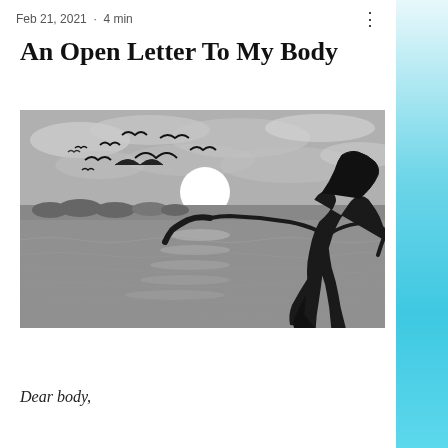Feb 21, 2021 · 4 min
An Open Letter To My Body
[Figure (illustration): Black and white painting of a silhouette of a woman with flowing hair and dress standing by a lake or sea, arms outstretched, with birds flying overhead and a large white moon/sun on the horizon.]
Dear body,